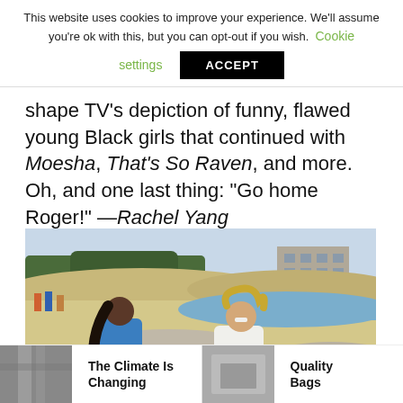This website uses cookies to improve your experience. We'll assume you're ok with this, but you can opt-out if you wish. Cookie settings ACCEPT
shape TV's depiction of funny, flawed young Black girls that continued with Moesha, That's So Raven, and more. Oh, and one last thing: “Go home Roger!” —Rachel Yang
[Figure (photo): Two young people sitting on a beach. A young Black woman in a blue tank top with long black hair sits on the left. A young person with curly blonde hair in a white t-shirt sits on the right. Sandy beach, dune grass, and a building in the background.]
The Climate Is Changing
Quality Bags